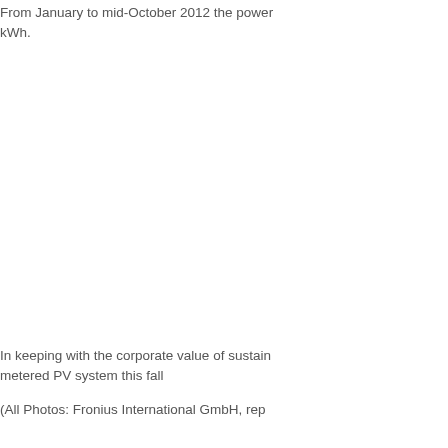From January to mid-October 2012 the power... kWh.
In keeping with the corporate value of sustain... metered PV system this fall
(All Photos: Fronius International GmbH, rep...